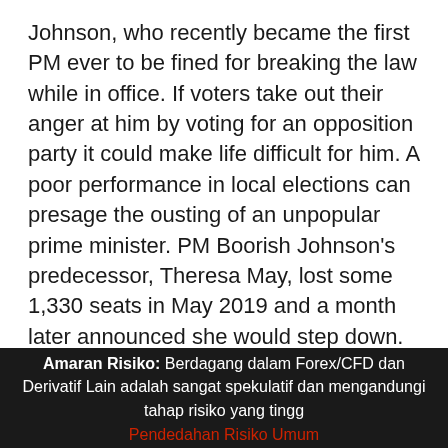Johnson, who recently became the first PM ever to be fined for breaking the law while in office. If voters take out their anger at him by voting for an opposition party it could make life difficult for him. A poor performance in local elections can presage the ousting of an unpopular prime minister. PM Boorish Johnson's predecessor, Theresa May, lost some 1,330 seats in May 2019 and a month later announced she would step down. Recent polls show Labour with a slight lead.
I doubt if PM Johnson will step down any more than Trump did after being impeached. He doesn't seem like the kind of person who is embarrassed by his own
Amaran Risiko: Berdagang dalam Forex/CFD dan Derivatif Lain adalah sangat spekulatif dan mengandungi tahap risiko yang tingg Pendedahan Risiko Umum